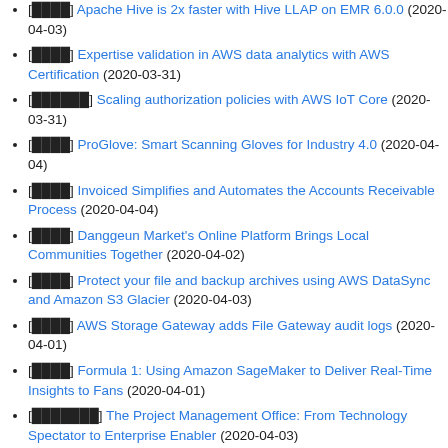[𝐇𝐈𝐕𝐄] Apache Hive is 2x faster with Hive LLAP on EMR 6.0.0 (2020-04-03)
[𝐀𝐖𝐒] Expertise validation in AWS data analytics with AWS Certification (2020-03-31)
[𝐀𝐖𝐒𝐈𝐨𝐓] Scaling authorization policies with AWS IoT Core (2020-03-31)
[𝐆𝐋𝐎𝐕𝐄] ProGlove: Smart Scanning Gloves for Industry 4.0 (2020-04-04)
[𝐀𝐖𝐒] Invoiced Simplifies and Automates the Accounts Receivable Process (2020-04-04)
[𝐀𝐖𝐒] Danggeun Market's Online Platform Brings Local Communities Together (2020-04-02)
[𝐀𝐖𝐒] Protect your file and backup archives using AWS DataSync and Amazon S3 Glacier (2020-04-03)
[𝐀𝐖𝐒] AWS Storage Gateway adds File Gateway audit logs (2020-04-01)
[𝐀𝐖𝐒] Formula 1: Using Amazon SageMaker to Deliver Real-Time Insights to Fans (2020-04-01)
[𝐏𝐌𝐎𝐅𝐈𝐂𝐄] The Project Management Office: From Technology Spectator to Enterprise Enabler (2020-03-03)
[𝐀𝐖𝐒] Machine learning with AutoGluon, an open source...